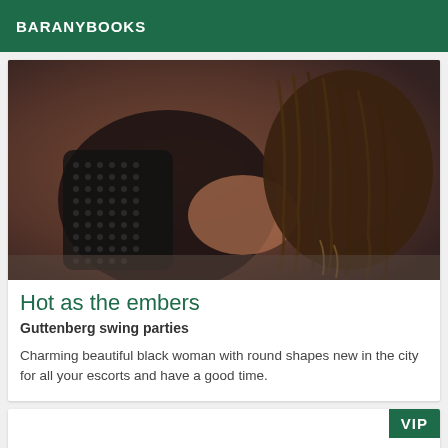BARANYBOOKS
[Figure (photo): A woman in black fishnet/lace lingerie photographed from above, posed on the floor with long braided hair covering her face.]
Hot as the embers
Guttenberg swing parties
Charming beautiful black woman with round shapes new in the city for all your escorts and have a good time.
[Figure (other): VIP card placeholder, mostly blank with a VIP badge in the top-right corner.]